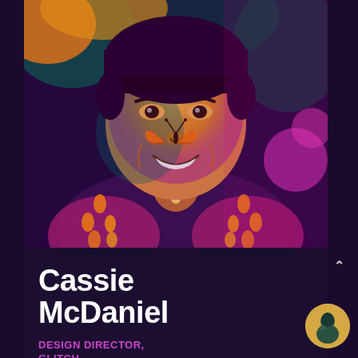[Figure (photo): Colorized portrait photo of Cassie McDaniel smiling with a butterfly on her nose, wearing a patterned dress. The image has a psychedelic purple/orange/teal color treatment.]
Cassie McDaniel
DESIGN DIRECTOR, GLITCH